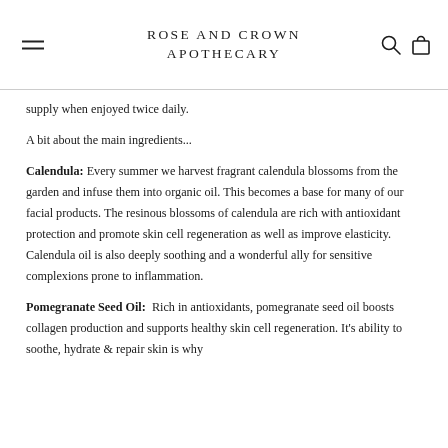ROSE AND CROWN APOTHECARY
supply when enjoyed twice daily.
A bit about the main ingredients...
Calendula: Every summer we harvest fragrant calendula blossoms from the garden and infuse them into organic oil. This becomes a base for many of our facial products. The resinous blossoms of calendula are rich with antioxidant protection and promote skin cell regeneration as well as improve elasticity. Calendula oil is also deeply soothing and a wonderful ally for sensitive complexions prone to inflammation.
Pomegranate Seed Oil:  Rich in antioxidants, pomegranate seed oil boosts collagen production and supports healthy skin cell regeneration. It's ability to soothe, hydrate & repair skin is why